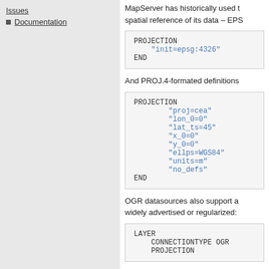Issues
Documentation
MapServer has historically used the spatial reference of its data – EPS
[Figure (screenshot): Code block showing PROJECTION with init=epsg:4326 and END]
And PROJ.4-formated definitions
[Figure (screenshot): Code block showing PROJECTION with proj=cea, lon_0=0, lat_ts=45, x_0=0, y_0=0, ellps=WGS84, units=m, no_defs and END]
OGR datasources also support a widely advertised or regularized:
[Figure (screenshot): Code block showing LAYER with CONNECTIONTYPE OGR and PROJECTION]